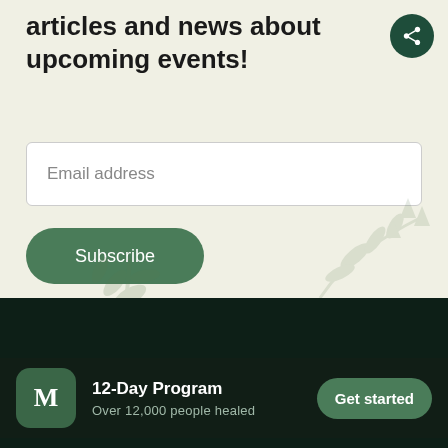articles and news about upcoming events!
Email address
Subscribe
12-Day Program
Over 12,000 people healed
Get started